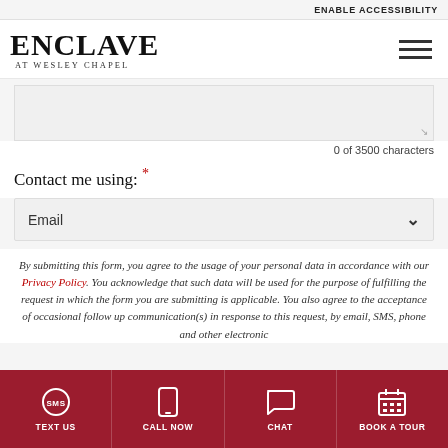ENABLE ACCESSIBILITY
[Figure (logo): Enclave at Wesley Chapel logo with hamburger menu icon]
0 of 3500 characters
Contact me using: *
Email
By submitting this form, you agree to the usage of your personal data in accordance with our Privacy Policy. You acknowledge that such data will be used for the purpose of fulfilling the request in which the form you are submitting is applicable. You also agree to the acceptance of occasional follow up communication(s) in response to this request, by email, SMS, phone and other electronic
TEXT US  CALL NOW  CHAT  BOOK A TOUR